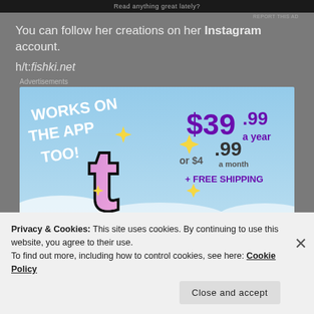[Figure (screenshot): Top dark ad bar with text 'Read anything great lately?']
REPORT THIS AD
You can follow her creations on her Instagram account.
h/t:fishki.net
Advertisements
[Figure (screenshot): Tumblr advertisement banner: 'WORKS ON THE APP TOO! $39.99 a year or $4.99 a month + FREE SHIPPING' with Tumblr logo on a sky background]
Privacy & Cookies: This site uses cookies. By continuing to use this website, you agree to their use.
To find out more, including how to control cookies, see here: Cookie Policy
Close and accept